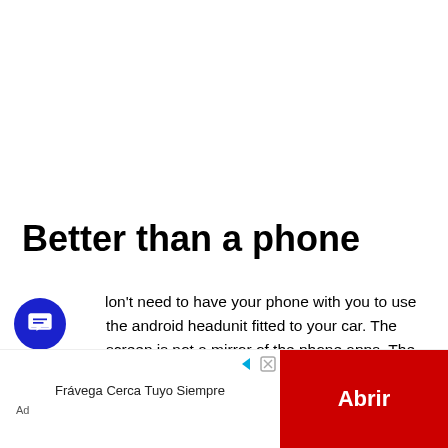Better than a phone
You don't need to have your phone with you to use the android headunit fitted to your car. The screen is not a mirror of the phone apps. The screen is part of the android system built into the android headunit. You load apps directly into the android headunit. Free and paid apps all work and are available on the play store. All your favourites are there and some extras you never thought you needed on your phone. Launchers
[Figure (other): Blue circular chat/message icon]
[Figure (screenshot): Advertisement banner: Frávega Cerca Tuyo Siempre with red Abrir button and ad controls]